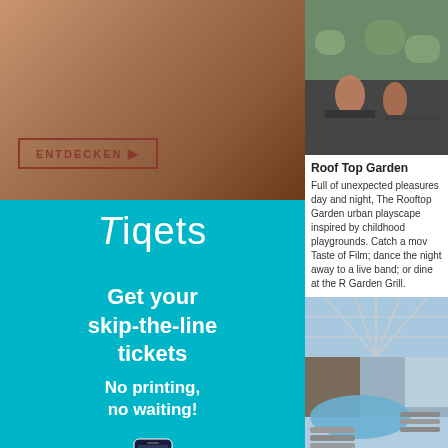[Figure (photo): Close-up of a person's wrist/hand with a colorful bracelet/wristband, warm skin tones]
ENTDECKEN ▶
[Figure (logo): Tiqets logo in white text on teal background]
Get your skip-the-line tickets
No printing, no waiting!
[Figure (photo): Rooftop terrace with people sitting, plants and greenery, urban setting]
Roof Top Garden
Full of unexpected pleasures day and night, The Rooftop Garden urban playscape inspired by childhood playgrounds. Catch a mov Taste of Film; dance the night away to a live band; or dine at the R Garden Grill.
[Figure (photo): Indoor pool area with glass dome ceiling, lounge chairs, blue water, ocean view]
Solarium
The adults only Solarium is one of the most blissful spots on the s features a 3D art wall.